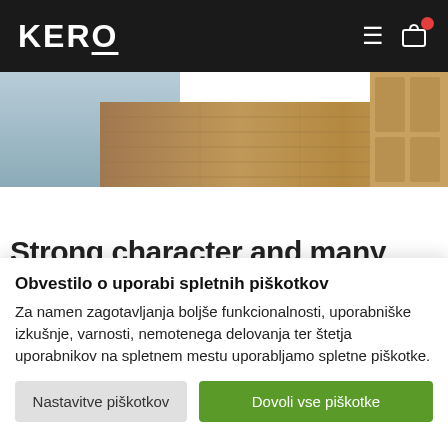KERO
[Figure (photo): Partial view of a room with wood-effect vinyl flooring being installed, showing the floor surface and a wooden cabinet in the background]
Strong character and many
Obvestilo o uporabi spletnih piškotkov
Za namen zagotavljanja boljše funkcionalnosti, uporabniške izkušnje, varnosti, nemotenega delovanja ter štetja uporabnikov na spletnem mestu uporabljamo spletne piškotke.
Nastavitve piškotkov
Dovoli vse piškotke